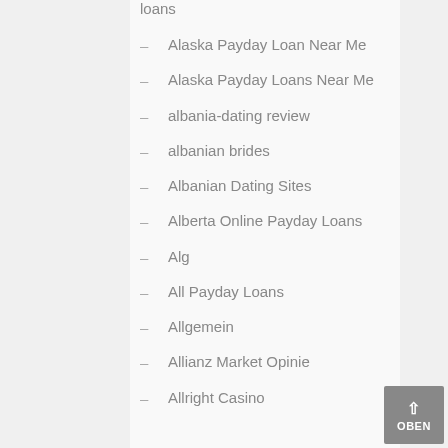loans
Alaska Payday Loan Near Me
Alaska Payday Loans Near Me
albania-dating review
albanian brides
Albanian Dating Sites
Alberta Online Payday Loans
Alg
All Payday Loans
Allgemein
Allianz Market Opinie
Allright Casino